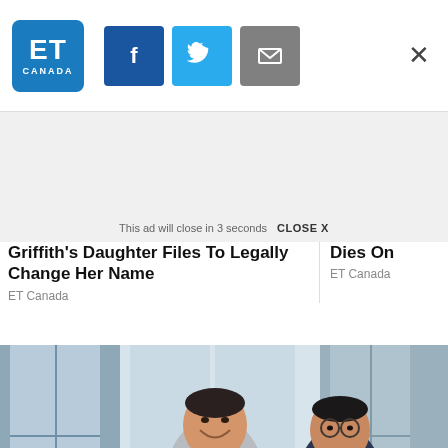ET Canada
This ad will close in 3 seconds   CLOSE X
Griffith's Daughter Files To Legally Change Her Name
ET Canada
Dies On
ET Canada
[Figure (photo): Two men in business attire looking at a smartphone together in an office with large windows]